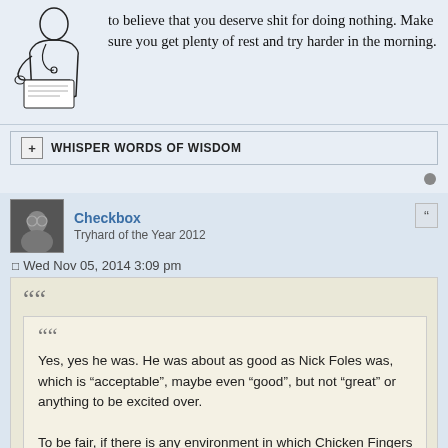to believe that you deserve shit for doing nothing. Make sure you get plenty of rest and try harder in the morning.
WHISPER WORDS OF WISDOM
Checkbox
Tryhard of the Year 2012
Wed Nov 05, 2014 3:09 pm
Yes, yes he was. He was about as good as Nick Foles was, which is "acceptable", maybe even "good", but not "great" or anything to be excited over.

To be fair, if there is any environment in which Chicken Fingers can thrive in, its this one. Think back to his first few years being successful with the Jets - Really solid run game which opens up the passing game and makes it so he doesn't have to force throws (Something Nick Foles really needs to remember). Sanchez was...